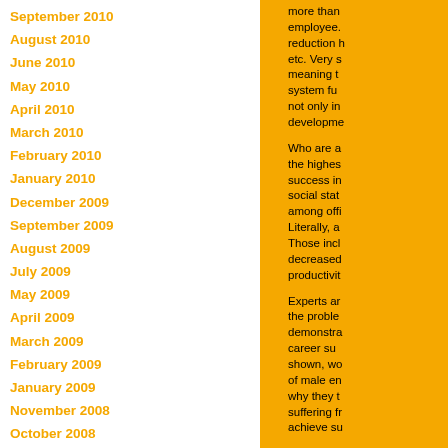September 2010
August 2010
June 2010
May 2010
April 2010
March 2010
February 2010
January 2010
December 2009
September 2009
August 2009
July 2009
May 2009
April 2009
March 2009
February 2009
January 2009
November 2008
October 2008
September 2008
August 2008
July 2008
Blogroll
Cooking Recipes
Herbal Remedies
Pregnancy and Parenting
more than... employee... reduction h... etc. Very s... meaning t... system fu... not only in... developme...
Who are a... the highest... success in... social sta... among offi... Literally, a... Those incl... decreased... productivit...
Experts ar... the proble... demonstra... career su... shown, wo... of male en... why they t... suffering fr... achieve su...
What to do... to acknowl... time to res... you outsid... basics of c... really very... some natu... therapy, ev...